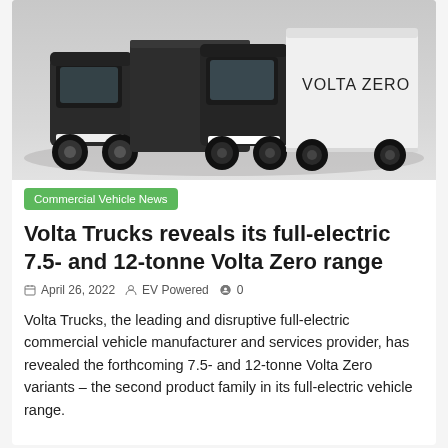[Figure (photo): Two Volta Zero full-electric trucks side by side, with black cab sections and white cargo body, on a grey background. The truck on the right shows 'VOLTA ZERO' branding on the side.]
Commercial Vehicle News
Volta Trucks reveals its full-electric 7.5- and 12-tonne Volta Zero range
April 26, 2022  EV Powered  0
Volta Trucks, the leading and disruptive full-electric commercial vehicle manufacturer and services provider, has revealed the forthcoming 7.5- and 12-tonne Volta Zero variants – the second product family in its full-electric vehicle range.
[Figure (photo): Small thumbnail image showing purple/pink circular light effect on dark background.]